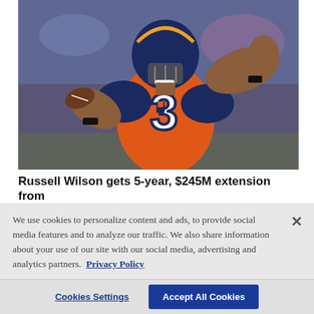[Figure (photo): NFL quarterback wearing Denver Broncos orange jersey number 3 (Russell Wilson) in throwing stance, holding football, stadium background]
Russell Wilson gets 5-year, $245M extension from
We use cookies to personalize content and ads, to provide social media features and to analyze our traffic. We also share information about your use of our site with our social media, advertising and analytics partners. Privacy Policy
Cookies Settings | Accept All Cookies